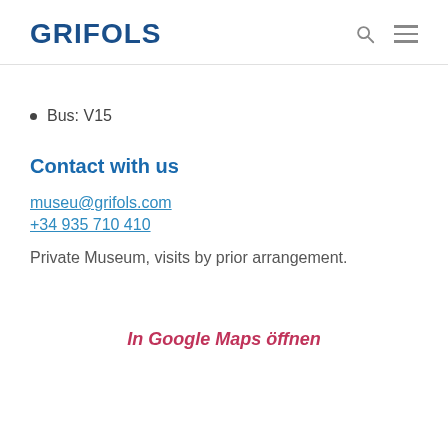GRIFOLS
Bus: V15
Contact with us
museu@grifols.com
+34 935 710 410
Private Museum, visits by prior arrangement.
In Google Maps öffnen